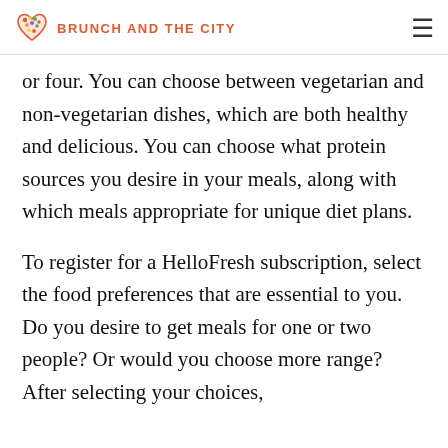BRUNCH AND THE CITY
or four. You can choose between vegetarian and non-vegetarian dishes, which are both healthy and delicious. You can choose what protein sources you desire in your meals, along with which meals appropriate for unique diet plans.
To register for a HelloFresh subscription, select the food preferences that are essential to you. Do you desire to get meals for one or two people? Or would you choose more range? After selecting your choices,